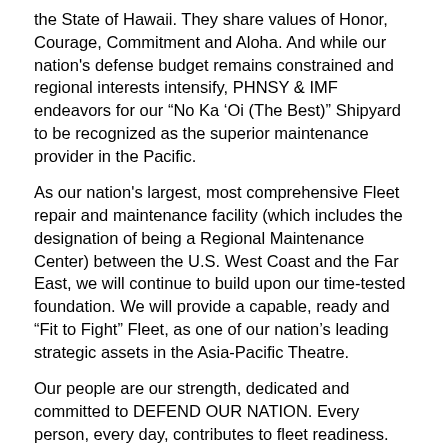the State of Hawaii. They share values of Honor, Courage, Commitment and Aloha. And while our nation's defense budget remains constrained and regional interests intensify, PHNSY & IMF endeavors for our “No Ka ‘Oi (The Best)” Shipyard to be recognized as the superior maintenance provider in the Pacific.
As our nation's largest, most comprehensive Fleet repair and maintenance facility (which includes the designation of being a Regional Maintenance Center) between the U.S. West Coast and the Far East, we will continue to build upon our time-tested foundation. We will provide a capable, ready and “Fit to Fight” Fleet, as one of our nation’s leading strategic assets in the Asia-Pacific Theatre.
Our people are our strength, dedicated and committed to DEFEND OUR NATION. Every person, every day, contributes to fleet readiness. Our actions as an organization align with the needs of the Navy, and reflect the principles and disciplines of a Learning Organization. Our personal and professional behavior embraces the Navy's core values of honor, courage and commitment, and personifies the sense of pride and spirit of “aloha” of the great state of Hawaii.
Our diversity is a force multiplier. Our shipyard is a safe,